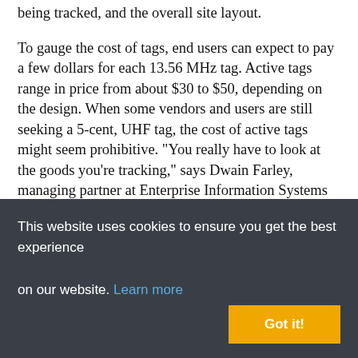being tracked, and the overall site layout.
To gauge the cost of tags, end users can expect to pay a few dollars for each 13.56 MHz tag. Active tags range in price from about $30 to $50, depending on the design. When some vendors and users are still seeking a 5-cent, UHF tag, the cost of active tags might seem prohibitive. "You really have to look at the goods you're tracking," says Dwain Farley, managing partner at Enterprise Information Systems (EIS). "One of our clients is tracking aircraft parts that are each worth tens of thousands of dollars. In that case, the company didn't blink at the cost of active tags. Similarly, spending a few dollars to embed a 13.56 MHz tag in a tote or pallet that costs several hundred dollars makes a lot of
This website uses cookies to ensure you get the best experience on our website. Learn more